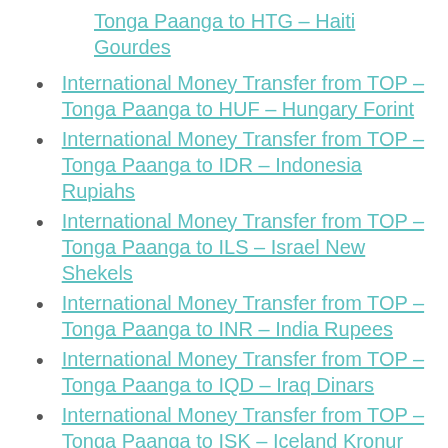Tonga Paanga to HTG - Haiti Gourdes
International Money Transfer from TOP - Tonga Paanga to HUF - Hungary Forint
International Money Transfer from TOP - Tonga Paanga to IDR - Indonesia Rupiahs
International Money Transfer from TOP - Tonga Paanga to ILS - Israel New Shekels
International Money Transfer from TOP - Tonga Paanga to INR - India Rupees
International Money Transfer from TOP - Tonga Paanga to IQD - Iraq Dinars
International Money Transfer from TOP - Tonga Paanga to ISK - Iceland Kronur
International Money Transfer from TOP -